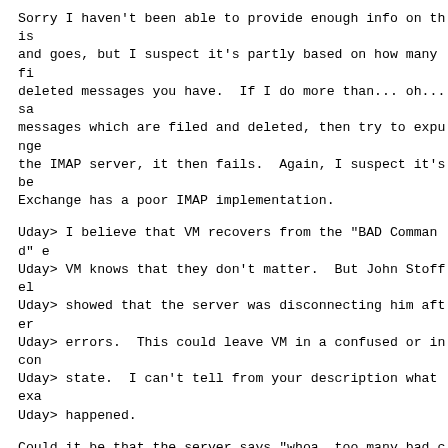Sorry I haven't been able to provide enough info on this and goes, but I suspect it's partly based on how many fi deleted messages you have.  If I do more than... oh... sa messages which are filed and deleted, then try to expunge the IMAP server, it then fails.  Again, I suspect it's be Exchange has a poor IMAP implementation.
Uday> I believe that VM recovers from the "BAD Command" e
Uday> VM knows that they don't matter.  But John Stoffel
Uday> showed that the server was disconnecting him after
Uday> errors.  This could leave VM in a confused or incon
Uday> state.  I can't tell from your description what exa
Uday> happened.
Could it be that the server says "whoa, too many bad comm kicking you out!" so it might be useful to do the command batches, then flush changes?
Or maybe, because MS Exchange just sucks, we don't store beyond the ones defined in the IMAP standard?  Or maybe w pre-define the 'filed' flag as a PERMANENTFLAGS somehow? quickly looking over the IMAP specs as shown in:
https://tools.ietf.org/html/rfc3501#section-6
Uday> Note that I can't reproduce your errors.  You will
Uday> me a blow-by-blow description of what happens and b
Uday> as possible.  For instance, "this surfaces as" is t
Uday> it an error?  Is it a warning?  Does VM stop and re